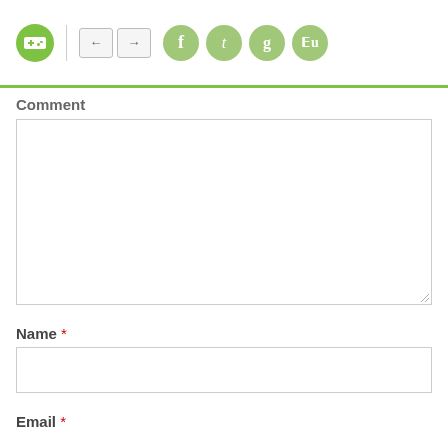Navigation header with logo, back/forward buttons, and social media icons (Facebook, Twitter, Google+, StumbleUpon)
Comment
[Figure (screenshot): Empty comment textarea with resize handle]
Name *
[Figure (screenshot): Empty name input field]
Email *